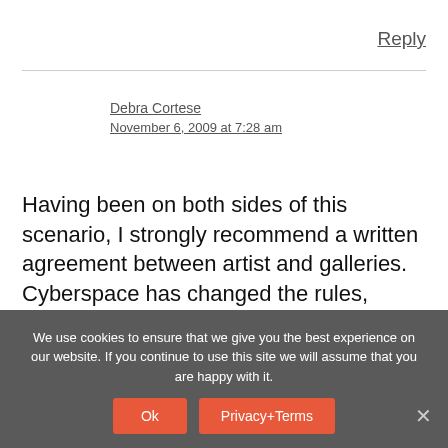Reply
Debra Cortese
November 6, 2009 at 7:28 am
Having been on both sides of this scenario, I strongly recommend a written agreement between artist and galleries. Cyberspace has changed the rules, anyone with a little Googling skill can find you (assuming you
We use cookies to ensure that we give you the best experience on our website. If you continue to use this site we will assume that you are happy with it.
Ok
Privacy+Terms